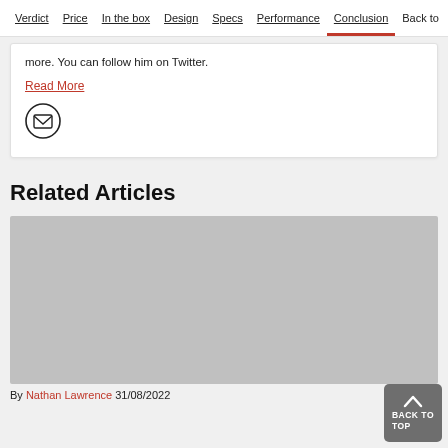Verdict | Price | In the box | Design | Specs | Performance | Conclusion | Back to
more. You can follow him on Twitter.
Read More
[Figure (other): Email/envelope icon inside a circle]
Related Articles
[Figure (photo): Gray placeholder image for a related article thumbnail]
By Nathan Lawrence 31/08/2022
[Figure (other): Back to Top button with upward chevron arrow, dark grey rounded rectangle]